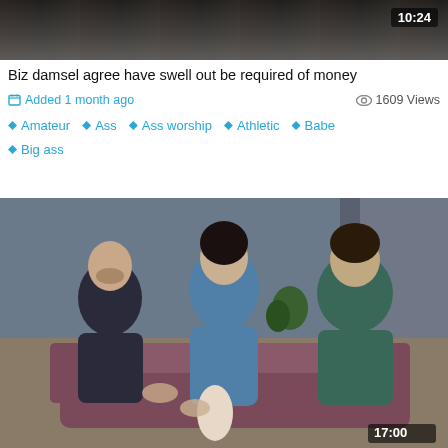[Figure (screenshot): Top portion of a video thumbnail showing a dark/blurred scene with a duration overlay reading 10:24 in the top right corner]
Biz damsel agree have swell out be required of money
Added 1 month ago   1609 Views
Amateur  Ass  Ass worship  Athletic  Babe  Big ass
[Figure (photo): Video thumbnail showing three people sitting on a couch in an indoor setting. A woman in a blue dress is seated in the center, with two men on either side. Duration overlay reads 17:00 in the bottom right corner.]